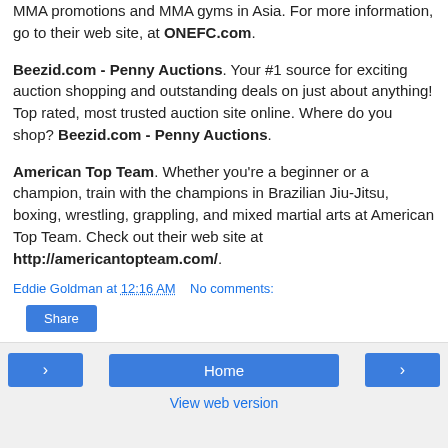MMA promotions and MMA gyms in Asia. For more information, go to their web site, at ONEFC.com.
Beezid.com - Penny Auctions. Your #1 source for exciting auction shopping and outstanding deals on just about anything! Top rated, most trusted auction site online. Where do you shop? Beezid.com - Penny Auctions.
American Top Team. Whether you're a beginner or a champion, train with the champions in Brazilian Jiu-Jitsu, boxing, wrestling, grappling, and mixed martial arts at American Top Team. Check out their web site at http://americantopteam.com/.
Eddie Goldman at 12:16 AM   No comments:
Share
‹   Home   ›   View web version